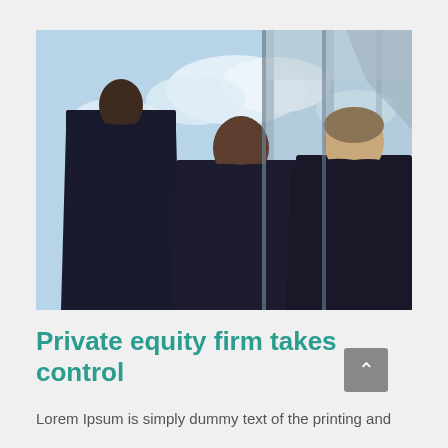[Figure (photo): Two businessmen in dark suits and ties standing in front of a glass building facade, looking at each other and conversing. A reflection of one of the men is visible in the glass. Blue sky with clouds in the background.]
Private equity firm takes control
Lorem Ipsum is simply dummy text of the printing and